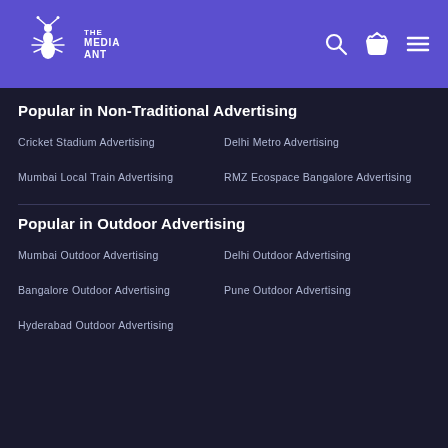The Media Ant
Popular in Non-Traditional Advertising
Cricket Stadium Advertising
Delhi Metro Advertising
Mumbai Local Train Advertising
RMZ Ecospace Bangalore Advertising
Popular in Outdoor Advertising
Mumbai Outdoor Advertising
Delhi Outdoor Advertising
Bangalore Outdoor Advertising
Pune Outdoor Advertising
Hyderabad Outdoor Advertising